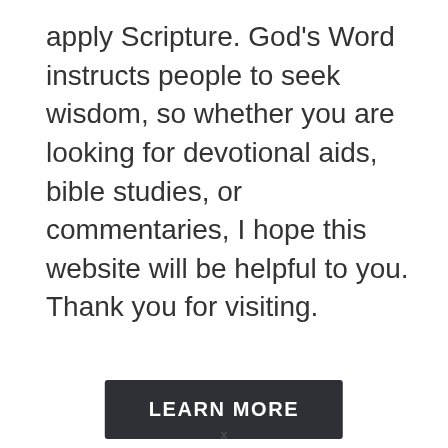apply Scripture. God's Word instructs people to seek wisdom, so whether you are looking for devotional aids, bible studies, or commentaries, I hope this website will be helpful to you. Thank you for visiting.
LEARN MORE
x